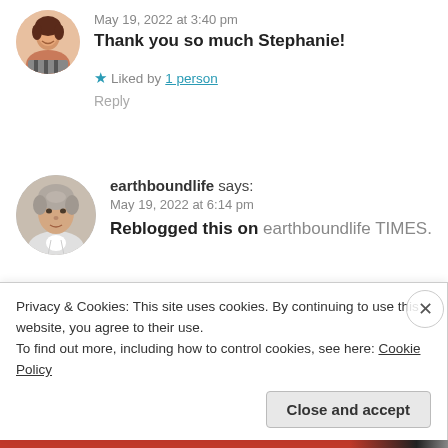May 19, 2022 at 3:40 pm
Thank you so much Stephanie!
★ Liked by 1 person
Reply
[Figure (photo): Avatar photo of a woman, circular crop]
earthboundlife says:
May 19, 2022 at 6:14 pm
Reblogged this on earthboundlife TIMES.
[Figure (photo): Avatar photo of an elderly man, circular crop]
★ Liked by 1 person
Privacy & Cookies: This site uses cookies. By continuing to use this website, you agree to their use.
To find out more, including how to control cookies, see here: Cookie Policy
Close and accept